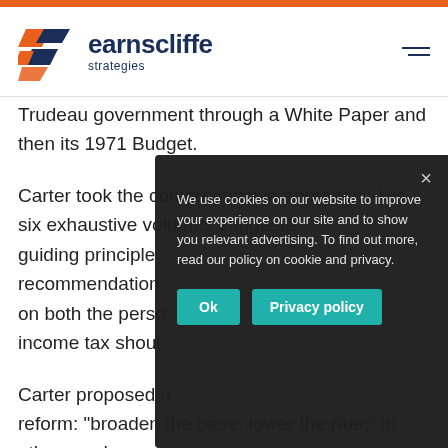[Figure (logo): Earnscliffe Strategies logo with orange geometric shapes and dark navy text]
Trudeau government through a White Paper and then its 1971 Budget.
Carter took the comprehensive approach. His six exhaustive volumes suggeste... guiding principle... recommendation... on both the perso... income tax shoul...
Carter proposed a... reform: "broaden the base, lower the rate;" in other words
We use cookies on our website to improve your experience on our site and to show you relevant advertising. To find out more, read our policy on cookie and privacy.